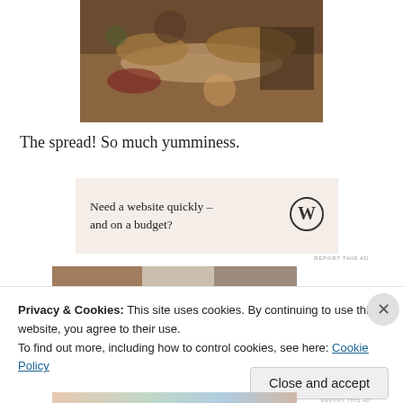[Figure (photo): Photo of a table spread with various cookies and candy dishes — cookies on platters, candies scattered, glass bowls with treats on a wooden table surface]
The spread! So much yumminess.
[Figure (other): WordPress advertisement banner: 'Need a website quickly – and on a budget?' with WordPress logo]
[Figure (photo): Partial photo visible behind cookie notice banner]
Privacy & Cookies: This site uses cookies. By continuing to use this website, you agree to their use.
To find out more, including how to control cookies, see here: Cookie Policy
Close and accept